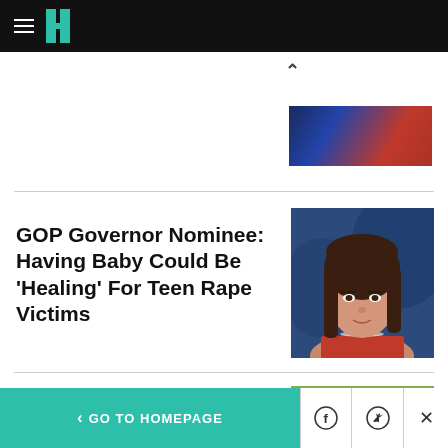HuffPost navigation header
[Figure (photo): Partial photo of a vehicle, dark blue and red tones, top article thumbnail]
GOP Governor Nominee: Having Baby Could Be 'Healing' For Teen Rape Victims
[Figure (photo): Headshot of a woman with brown hair wearing a red top with pearl necklace, blue background]
[Figure (photo): Partial outdoor photo showing trees and green landscape, bottom article thumbnail]
< GO TO HOMEPAGE | Facebook share | Twitter share | Close